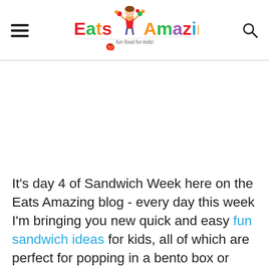Eats Amazing - Fun food for kids!
[Figure (logo): Eats Amazing logo with colorful text and cartoon girl juggling fruits and vegetables]
It's day 4 of Sandwich Week here on the Eats Amazing blog - every day this week I'm bringing you new quick and easy fun sandwich ideas for kids, all of which are perfect for popping in a bento box or